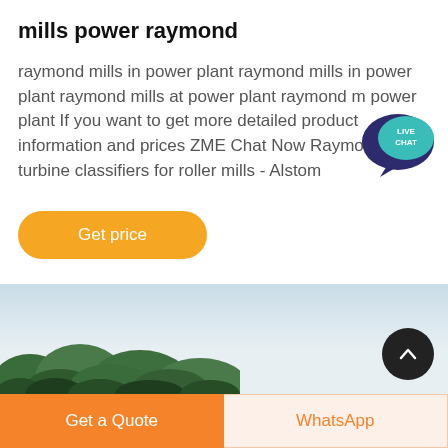mills power raymond
raymond mills in power plant raymond mills in power plant raymond mills at power plant raymond m power plant If you want to get more detailed product information and prices ZME Chat Now Raymond turbine classifiers for roller mills - Alstom
[Figure (other): Live chat speech bubble icon with 'LIVE CHAT' text, in teal/dark blue color]
Get price
[Figure (photo): Partial landscape photo showing green forested hillside against a light grey sky]
Get a Quote
WhatsApp